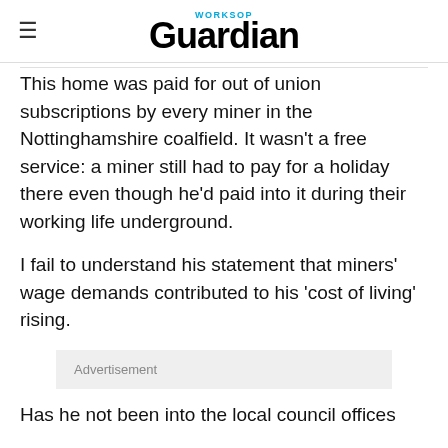Worksop Guardian
This home was paid for out of union subscriptions by every miner in the Nottinghamshire coalfield. It wasn't a free service: a miner still had to pay for a holiday there even though he'd paid into it during their working life underground.
I fail to understand his statement that miners' wage demands contributed to his 'cost of living' rising.
Advertisement
Has he not been into the local council offices